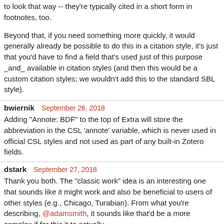to look that way -- they're typically cited in a short form in footnotes, too.
Beyond that, if you need something more quickly, it would generally already be possible to do this in a citation style, it's just that you'd have to find a field that's used just of this purpose _and_ available in citation styles (and then this would be a custom citation styles; we wouldn't add this to the standard SBL style).
bwiernik  September 26, 2018
Adding "Annote: BDF" to the top of Extra will store the abbreviation in the CSL 'annote' variable, which is never used in official CSL styles and not used as part of any built-in Zotero fields.
dstark  September 27, 2018
Thank you both. The "classic work" idea is an interesting one that sounds like it might work and also be beneficial to users of other styles (e.g., Chicago, Turabian). From what you're describing, @adamsmith, it sounds like that'd be a more complex if for this it to actually...